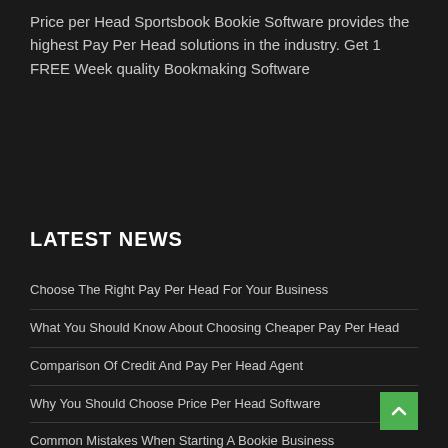Price per Head Sportsbook Bookie Software provides the highest Pay Per Head solutions in the industry. Get 1 FREE Week quality Bookmaking Software
LATEST NEWS
Choose The Right Pay Per Head For Your Business
What You Should Know About Choosing Cheaper Pay Per Head
Comparison Of Credit And Pay Per Head Agent
Why You Should Choose Price Per Head Software
Common Mistakes When Starting A Bookie Business